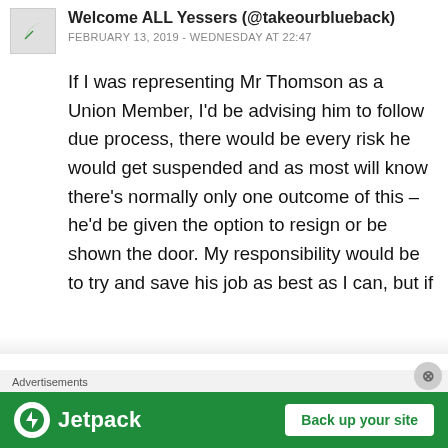Welcome ALL Yessers (@takeourblueback) — FEBRUARY 13, 2019 - WEDNESDAY AT 22:47
If I was representing Mr Thomson as a Union Member, I'd be advising him to follow due process, there would be every risk he would get suspended and as most will know there's normally only one outcome of this – he'd be given the option to resign or be shown the door. My responsibility would be to try and save his job as best as I can, but if
Advertisements
[Figure (screenshot): Jetpack advertisement banner with 'Back up your site' button on green background]